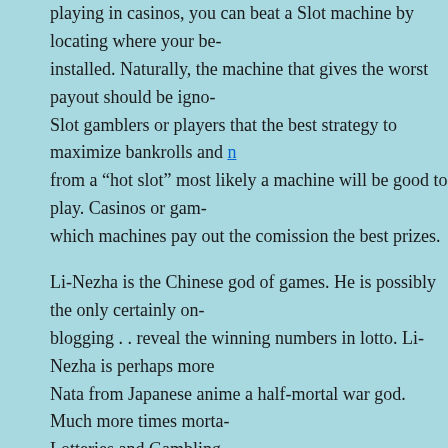playing in casinos, you can beat a Slot machine by locating where your be... installed. Naturally, the machine that gives the worst payout should be igno... Slot gamblers or players that the best strategy to maximize bankrolls and n... from a "hot slot" most likely a machine will be good to play. Casinos or gam... which machines pay out the comission the best prizes.
Li-Nezha is the Chinese god of games. He is possibly the only certainly on... blogging . . reveal the winning numbers in lotto. Li-Nezha is perhaps more ... Nata from Japanese anime a half-mortal war god. Much more times morta... Lotteries and Gambling.
It is also important to note as well as leaving if you have gotten that you ha... bankroll already. That machine is an adverse machine to have fun with. St... loss percentage is 19% or even less. Staying in a machine which has alrea... bankroll is not a good sign and is often a factor for your great loss. It is add... purchase a favorite machine because this doesn't increase you associated ... machines.
FILED UNDER: CASINO +